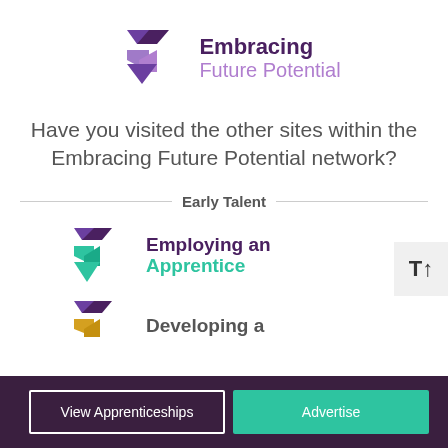[Figure (logo): Embracing Future Potential logo with purple geometric arrow shapes and text]
Have you visited the other sites within the Embracing Future Potential network?
Early Talent
[Figure (logo): Employing an Apprentice logo with purple and teal geometric arrow shapes]
[Figure (logo): Developing a — partial logo with purple and yellow geometric shapes (cut off)]
View Apprenticeships   Advertise